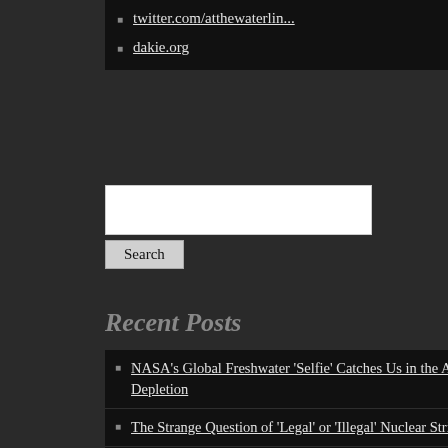twitter.com/atthewaterlin...
dakie.org
Recent Posts
NASA's Global Freshwater 'Selfie' Catches Us in the Act of Over-Depletion
The Strange Question of 'Legal' or 'Illegal' Nuclear Strikes
How Climate Change Turns Up the Flames of Fire Season
From the DNC: A Call for Climate Action
Dubious: The Donald's